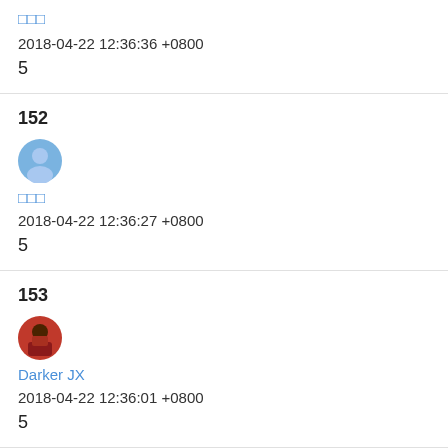□□□
2018-04-22 12:36:36 +0800
5
152
[Figure (illustration): Default user avatar — blue circle with person silhouette]
□□□
2018-04-22 12:36:27 +0800
5
153
[Figure (photo): User avatar — character with dark red/brown color scheme]
Darker JX
2018-04-22 12:36:01 +0800
5